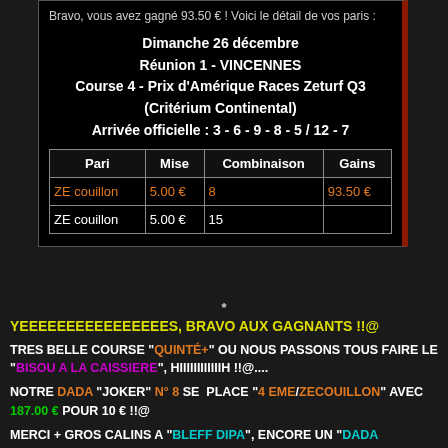Bravo, vous avez gagné 93.50 € ! Voici le détail de vos paris :
Dimanche 26 décembre
Réunion 1 - VINCENNES
Course 4 - Prix d'Amérique Races Zeturf Q3 (Critérium Continental)
Arrivée officielle : 3 - 6 - 9 - 8 - 5 / 12 - 7
| Pari | Mise | Combinaison | Gains |
| --- | --- | --- | --- |
| ZE couillon | 5.00 € | 8 | 93.50 € |
| ZE couillon | 5.00 € | 15 |  |
*
YEEEEEEEEEEEEEEEES, BRAVO AUX GAGNANTS !!@
TRES BELLE COURSE "QUINTÉ+" OU NOUS PASSONS TOUS FAIRE LE "BISOU A LA CAISSIERE", HIIIIIIIIIIIIH !!@....
NOTRE DADA "JOKER" N° 8 SE PLACE "4 EME/ZECOUILLON" AVEC 187.00 € POUR 10 € !!@
MERCI + GROS CALINS A "BLEFF DIPA", ENCORE UN "DADA